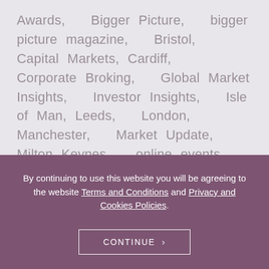Awards, Bigger Picture, bigger picture magazine, Bristol, Capital Markets, Cardiff, Corporate Broking, Global Market Insights, Investor Insights, Isle of Man, Leeds, London, Manchester, Market Update, Milton Keynes, online events, Poole, Robert Race, The Bigger Picture, Wayfarer Commentary, Wealth Management, Wealth Planning, webinars, WH Ireland Capital Markets, WHIreland Corporate & Institutional Broking, WHIreland International, WHIreland International
By continuing to use this website you will be agreeing to the website Terms and Conditions and Privacy and Cookies Policies.
CONTINUE >